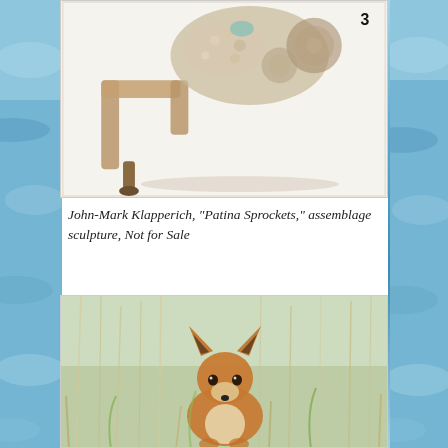[Figure (photo): Assemblage sculpture with metal clamp, gears, shells, beads and mixed materials on white background. Number '3' visible in upper right corner.]
John-Mark Klapperich, “Patina Sprockets,” assemblage sculpture, Not for Sale
[Figure (photo): A young fox standing in tall dry grass and green vegetation, looking directly at the camera with alert ears and dark eyes.]